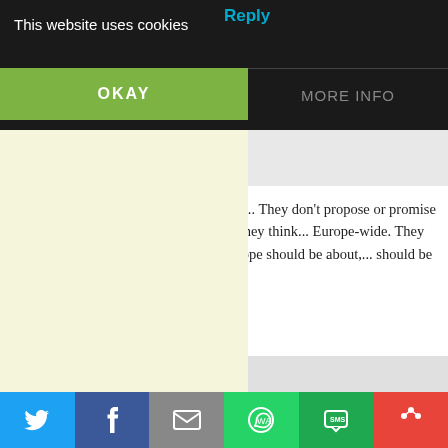This website uses cookies
OKAY
MORE INFO
Reply
Wolfgang Meier says:
March 26, 2013 at 10:28 am
Well, no one can say to this group they'r... They don't propose or promise what th... has not been able to deliver. They think... Europe-wide. They think of others as w... the true spirit Europe should be about,... should be about that
Loading...
Reply
inavukic says:
March 26, 2013 at 10:30 am
[Figure (screenshot): Social sharing bar with Twitter, Facebook, Email, WhatsApp, SMS, and more icons]